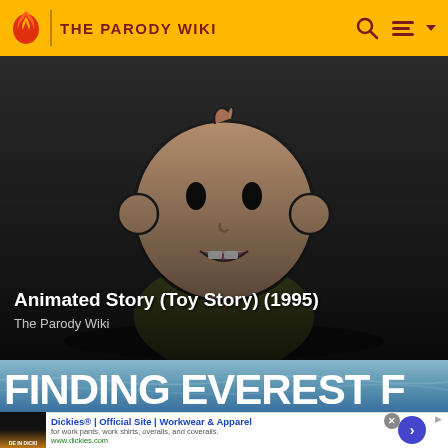THE PARODY WIKI
[Figure (illustration): Animated cartoon character - a simplified human figure with round head, dark eyebrows, small nose, open mouth expression, wearing an olive/brown suit with red tie, on a dark background. Style resembles a web animation or parody cartoon.]
Animated Story (Toy Story) (1995)
The Parody Wiki
[Figure (screenshot): Banner image with ocean/water background showing the text 'FINDING EVEREST F' in large bold white letters, partially cropped on the right]
Dickies® | Official Site | Workwear & Apparel
for work pants, work shirts, overalls, and coveralls.
www.dickies.com